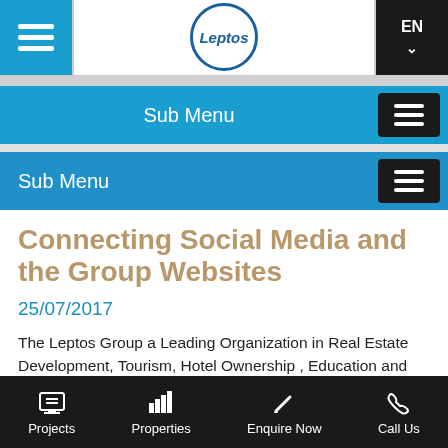Leptos — EN
Sub Menu
Sub Menu
Connecting Social Media and the Group Websites
25/07/2017
The Leptos Group a Leading Organization in Real Estate Development, Tourism, Hotel Ownership , Education and Healthcare is proud and at the same time delighted to inform all its clients , business associates and friends of the launch of its 16 updated and encompassing Website...
Projects   Properties   Enquire Now   Call Us